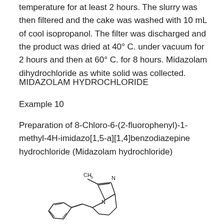temperature for at least 2 hours. The slurry was then filtered and the cake was washed with 10 mL of cool isopropanol. The filter was discharged and the product was dried at 40° C. under vacuum for 2 hours and then at 60° C. for 8 hours. Midazolam dihydrochloride as white solid was collected.
MIDAZOLAM HYDROCHLORIDE
Example 10
Preparation of 8-Chloro-6-(2-fluorophenyl)-1-methyl-4H-imidazo[1,5-a][1,4]benzodiazepine hydrochloride (Midazolam hydrochloride)
[Figure (engineering-diagram): Partial chemical structure diagram of Midazolam hydrochloride showing imidazo ring system with methyl group, nitrogen atoms, and fused benzene ring with substituents.]